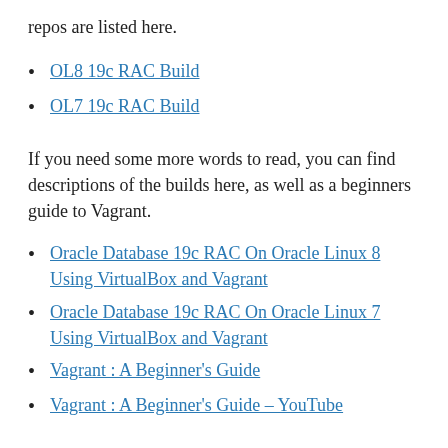repos are listed here.
OL8 19c RAC Build
OL7 19c RAC Build
If you need some more words to read, you can find descriptions of the builds here, as well as a beginners guide to Vagrant.
Oracle Database 19c RAC On Oracle Linux 8 Using VirtualBox and Vagrant
Oracle Database 19c RAC On Oracle Linux 7 Using VirtualBox and Vagrant
Vagrant : A Beginner's Guide
Vagrant : A Beginner's Guide – YouTube